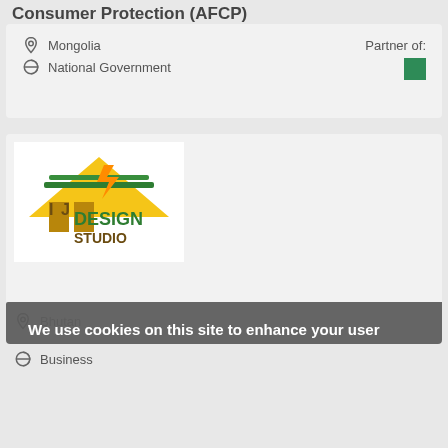Consumer Protection (AFCP)
Mongolia
National Government
Partner of:
[Figure (logo): IJ Design Studio logo with yellow house/building and green text]
We use cookies on this site to enhance your user experience
By clicking the Accept button, you agree to us doing so. More info
ACCEPT
NO, THANKS
Bhutan
Business